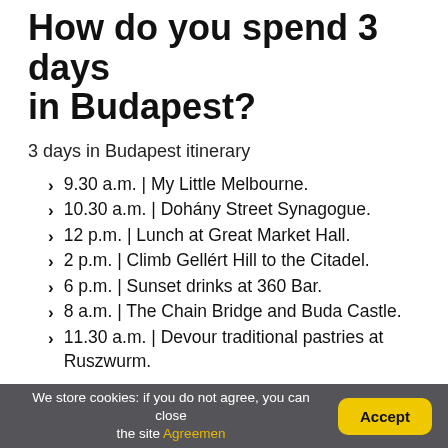How do you spend 3 days in Budapest?
3 days in Budapest itinerary
9.30 a.m. | My Little Melbourne.
10.30 a.m. | Dohány Street Synagogue.
12 p.m. | Lunch at Great Market Hall.
2 p.m. | Climb Gellért Hill to the Citadel.
6 p.m. | Sunset drinks at 360 Bar.
8 a.m. | The Chain Bridge and Buda Castle.
11.30 a.m. | Devour traditional pastries at Ruszwurm.
We store cookies: if you do not agree, you can close the site Agreemen